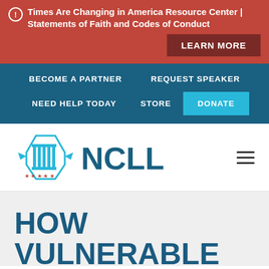Times Are Changing in America Resource Center | Statements of Faith and Codes of Conduct
LEARN MORE
BECOME A PARTNER   REQUEST SPEAKER   NEED HELP TODAY   STORE   DONATE
[Figure (logo): NCLL logo — hexagonal badge with columns and stars, next to bold text 'NCLL' in teal/blue]
HOW VULNERABLE IS YOUR LOCAL CHURCH